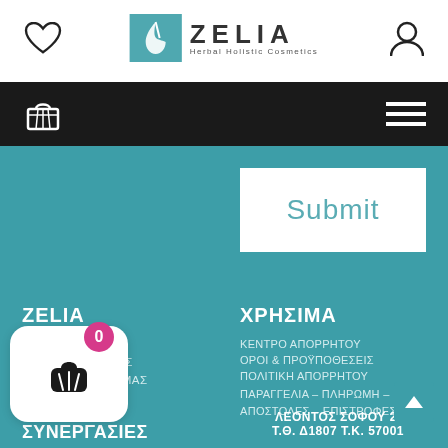[Figure (logo): Zelia Herbal Holistic Cosmetics logo with teal icon and company name]
[Figure (screenshot): Black navigation bar with basket icon on left and hamburger menu on right]
[Figure (screenshot): Teal background section with white Submit button]
ZELIA
ΠΟΙΟΙ ΕΙΜΑΣΤΕ
Η ΦΙΛΟΣΟΦΙΑ ΜΑΣ
ΤΟ ΕΡΓΑΣΤΗΡΙΟ ΜΑΣ
ΧΡΗΣΙΜΑ
ΚΕΝΤΡΟ ΑΠΟΡΡΗΤΟΥ
ΟΡΟΙ & ΠΡΟΫΠΟΘΕΣΕΙΣ
ΠΟΛΙΤΙΚΗ ΑΠΟΡΡΗΤΟΥ
ΠΑΡΑΓΓΕΛΙΑ – ΠΛΗΡΩΜΗ – ΑΠΟΣΤΟΛΕΣ – ΕΠΙΣΤΡΟΦΕΣ
ΣΥΝΕΡΓΑΣΙΕΣ
ΛΕΟΝΤΟΣ ΣΟΦΟΥ 20 Τ.Θ. Δ1807 Τ.Κ. 57001